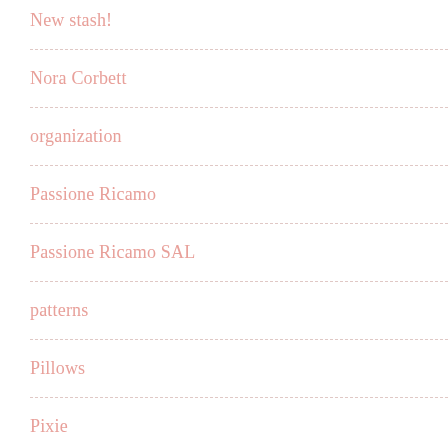New stash!
Nora Corbett
organization
Passione Ricamo
Passione Ricamo SAL
patterns
Pillows
Pixie
Poison Pixie
Project Bags
Q…